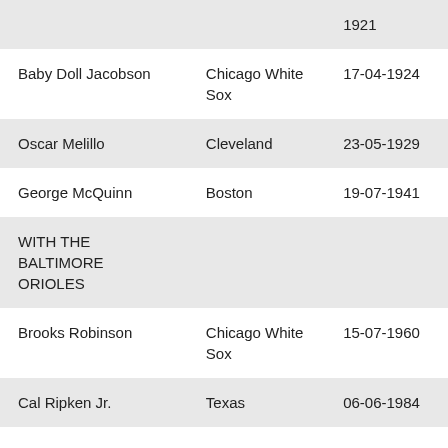| Player | Team | Date |
| --- | --- | --- |
|  |  | 1921 |
| Baby Doll Jacobson | Chicago White Sox | 17-04-1924 |
| Oscar Melillo | Cleveland | 23-05-1929 |
| George McQuinn | Boston | 19-07-1941 |
| WITH THE BALTIMORE ORIOLES |  |  |
| Brooks Robinson | Chicago White Sox | 15-07-1960 |
| Cal Ripken Jr. | Texas | 06-06-1984 |